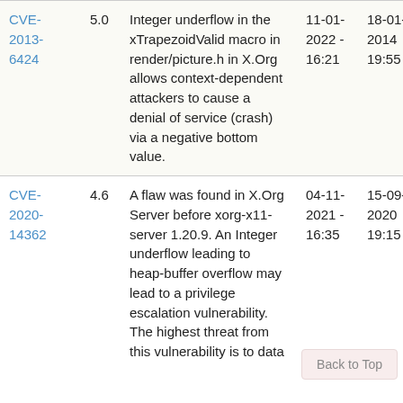| CVE | Score | Description | Date1 | Date2 |
| --- | --- | --- | --- | --- |
| CVE-2013-6424 | 5.0 | Integer underflow in the xTrapezoidValid macro in render/picture.h in X.Org allows context-dependent attackers to cause a denial of service (crash) via a negative bottom value. | 11-01-2022 - 16:21 | 18-01-2014 - 19:55 |
| CVE-2020-14362 | 4.6 | A flaw was found in X.Org Server before xorg-x11-server 1.20.9. An Integer underflow leading to heap-buffer overflow may lead to a privilege escalation vulnerability. The highest threat from this vulnerability is to data | 04-11-2021 - 16:35 | 15-09-2020 - 19:15 |